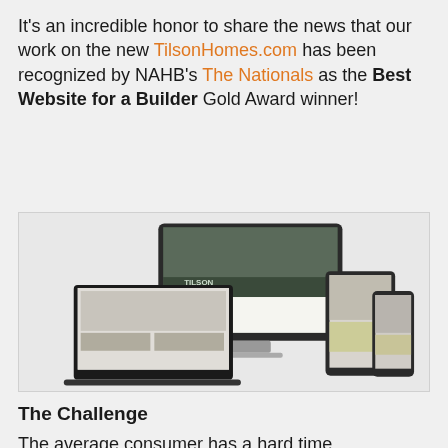It's an incredible honor to share the news that our work on the new TilsonHomes.com has been recognized by NAHB's The Nationals as the Best Website for a Builder Gold Award winner!
[Figure (photo): Multiple devices (desktop iMac, laptop, tablet, and smartphone) showing the Tilson Homes website interface across different screen sizes.]
The Challenge
The average consumer has a hard time understanding the "on your lot" builder online